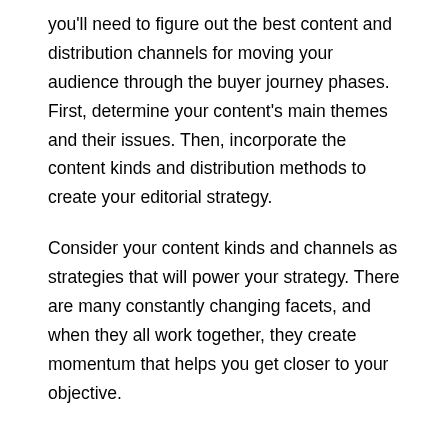you'll need to figure out the best content and distribution channels for moving your audience through the buyer journey phases. First, determine your content's main themes and their issues. Then, incorporate the content kinds and distribution methods to create your editorial strategy.
Consider your content kinds and channels as strategies that will power your strategy. There are many constantly changing facets, and when they all work together, they create momentum that helps you get closer to your objective.
Timeline
If you right article, a deadline for your content deliver...